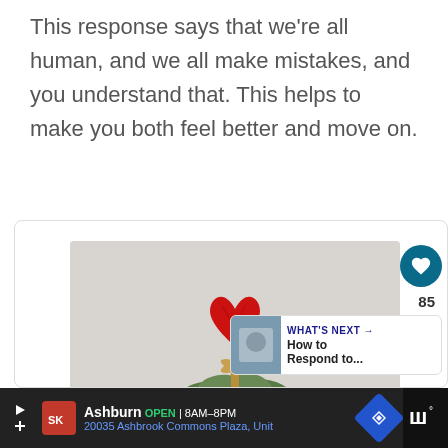This response says that we're all human, and we all make mistakes, and you understand that. This helps to make you both feel better and move on.
[Figure (photo): A red knitted heart on a stick placed in a bouquet of flowers wrapped in brown paper, on a light grey background. On the right side are interactive buttons: a teal heart/like button with count 85, a share button, and a 'What's Next' card showing 'How to Respond to...' with a thumbnail.]
[Figure (screenshot): Advertisement bar at the bottom: Smoothie King store ad showing 'Ashburn OPEN 8AM-8PM 20035 Ashbrook Commons Plaza, Unit' with a blue navigation icon. Right side shows a dark panel with white 'W' logo marks.]